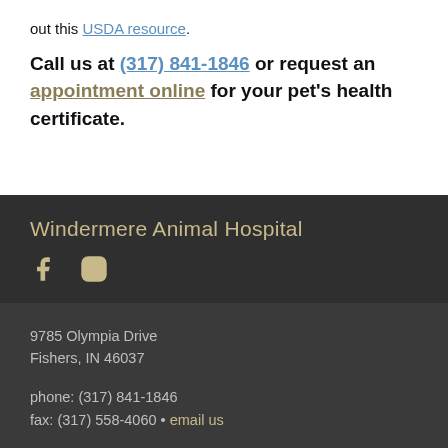out this USDA resource.
Call us at (317) 841-1846 or request an appointment online for your pet's health certificate.
Windermere Animal Hospital
[Figure (other): Facebook and Instagram social media icons]
9785 Olympia Drive
Fishers, IN 46037
phone: (317) 841-1846
fax: (317) 558-4060 • email us